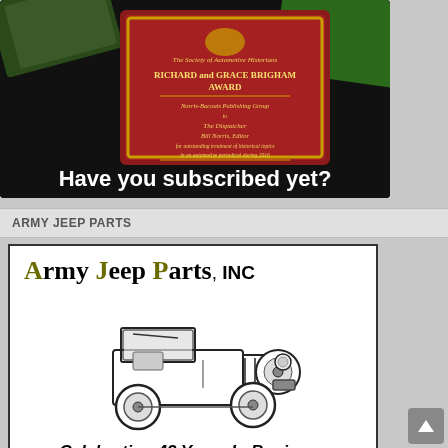[Figure (photo): Award plaque photo showing 'The Society of Automotive Historians Richard and Grace Brigham Award' presented to Norris-Bacouis Publishing Group for The Dispatcher, Bill Norris Editor, with text about outstanding treatment of historical topics in an automotive periodical. Black background with magazines visible at top.]
Have you subscribed yet?
ARMY JEEP PARTS
[Figure (illustration): Black and white illustration of a WWII military jeep (Willys MB / Ford GPW style) shown in three-quarter front view]
Celebrating 42 Years In Business
AJP specializes in Military Jeeps of all models. We are one of the oldest in our hobby and offer a full services shop, rebuild program, parts & Military paint for WWII thru Vietnam jeeps.